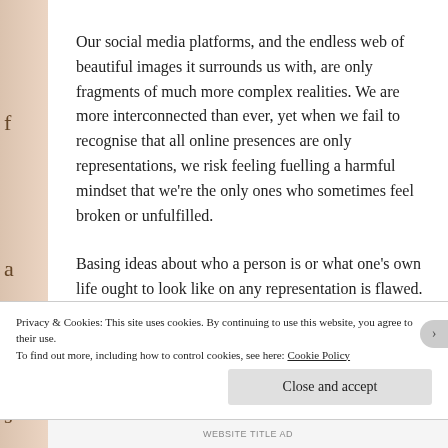Our social media platforms, and the endless web of beautiful images it surrounds us with, are only fragments of much more complex realities. We are more interconnected than ever, yet when we fail to recognise that all online presences are only representations, we risk feeling fuelling a harmful mindset that we're the only ones who sometimes feel broken or unfulfilled.
Basing ideas about who a person is or what one's own life ought to look like on any representation is flawed. As
Privacy & Cookies: This site uses cookies. By continuing to use this website, you agree to their use.
To find out more, including how to control cookies, see here: Cookie Policy